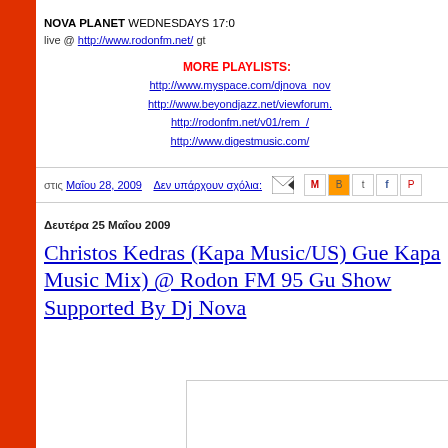NOVA PLANET WEDNESDAYS 17:0
live @ http://www.rodonfm.net/ gt
MORE PLAYLISTS:
http://www.myspace.com/djnova_nov
http://www.beyondjazz.net/viewforum.
http://rodonfm.net/v01/rem_/
http://www.digestmusic.com/
στις Μαΐου 28, 2009   Δεν υπάρχουν σχόλια:
Δευτέρα 25 Μαΐου 2009
Christos Kedras (Kapa Music/US) Gue Kapa Music Mix) @ Rodon FM 95 Gu Show Supported By Dj Nova
[Figure (other): Partial image/thumbnail placeholder at bottom right]